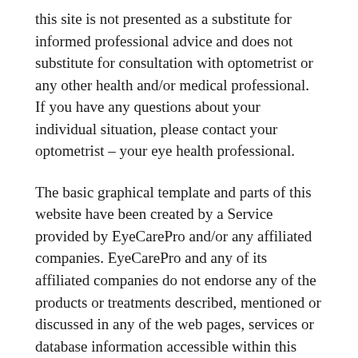this site is not presented as a substitute for informed professional advice and does not substitute for consultation with optometrist or any other health and/or medical professional. If you have any questions about your individual situation, please contact your optometrist – your eye health professional.
The basic graphical template and parts of this website have been created by a Service provided by EyeCarePro and/or any affiliated companies. EyeCarePro and any of its affiliated companies do not endorse any of the products or treatments described, mentioned or discussed in any of the web pages, services or database information accessible within this website. Due to the possibility of human error or advances in scientific knowledge, EyeCarePro, and/or any commercial partners, their staff nor any other party involved in providing web pages, services or database information accessible within this website, warrant that the